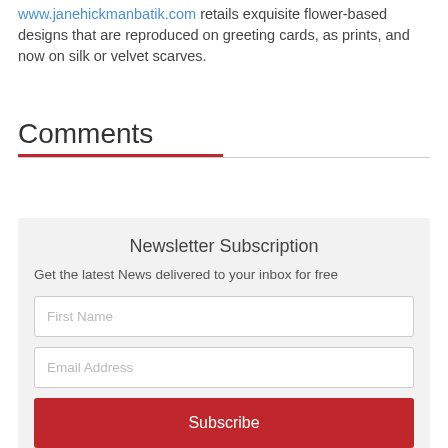www.janehickmanbatik.com retails exquisite flower-based designs that are reproduced on greeting cards, as prints, and now on silk or velvet scarves.
Comments
Newsletter Subscription
Get the latest News delivered to your inbox for free
[First Name input]
[Email Address input]
[Subscribe button]